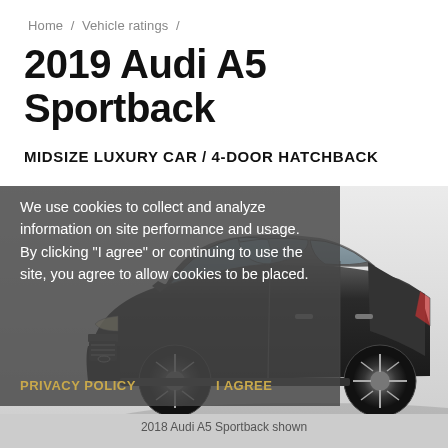Home / Vehicle ratings /
2019 Audi A5 Sportback
MIDSIZE LUXURY CAR / 4-DOOR HATCHBACK
[Figure (photo): Side profile photograph of a dark grey/black 2019 Audi A5 Sportback on a white studio background]
We use cookies to collect and analyze information on site performance and usage. By clicking "I agree" or continuing to use the site, you agree to allow cookies to be placed.
PRIVACY POLICY    I AGREE
2018 Audi A5 Sportback shown